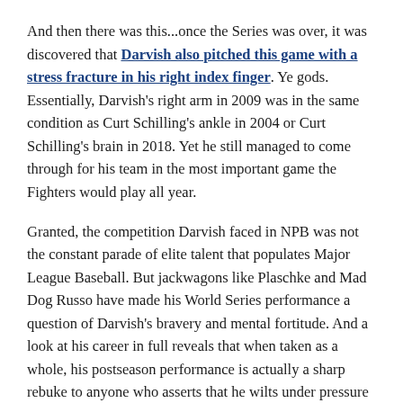And then there was this...once the Series was over, it was discovered that Darvish also pitched this game with a stress fracture in his right index finger. Ye gods. Essentially, Darvish's right arm in 2009 was in the same condition as Curt Schilling's ankle in 2004 or Curt Schilling's brain in 2018. Yet he still managed to come through for his team in the most important game the Fighters would play all year.
Granted, the competition Darvish faced in NPB was not the constant parade of elite talent that populates Major League Baseball. But jackwagons like Plaschke and Mad Dog Russo have made his World Series performance a question of Darvish's bravery and mental fortitude. And a look at his career in full reveals that when taken as a whole, his postseason performance is actually a sharp rebuke to anyone who asserts that he wilts under pressure and can't be counted on in the biggest games.
Let's hope that the Cubs provide him ample opportunity to continue doing just that.
I and also at ease. I was Kevin Onan USA Today Sports